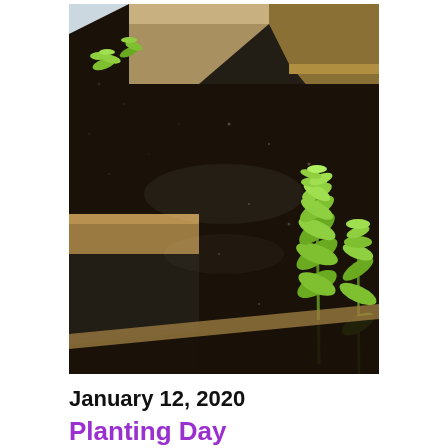[Figure (photo): Raised garden beds with young green seedlings/plants growing in dark soil, wooden frames, viewed from a diagonal angle, bright natural light]
January 12, 2020
Planting Day
This is your event description. Use this space